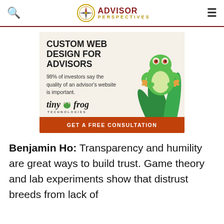ADVISOR PERSPECTIVES
[Figure (infographic): Advertisement for Tiny Frog Technologies: Custom Web Design for Advisors. '98% of investors say the quality of an advisor's website is important.' Features Tiny Frog Technologies logo and frog illustration with 'GET A FREE CONSULTATION' CTA button.]
Benjamin Ho: Transparency and humility are great ways to build trust. Game theory and lab experiments show that distrust breeds from lack of